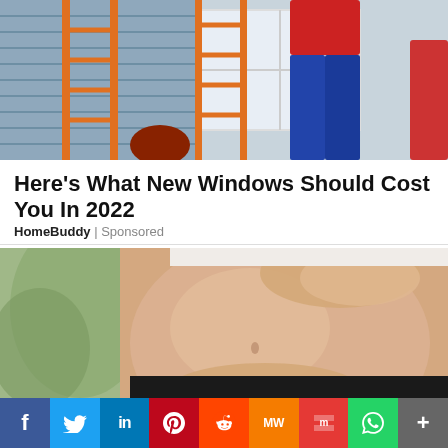[Figure (photo): Photo of a person near an orange ladder against a house with siding, another person installing or working on a window]
Here's What New Windows Should Cost You In 2022
HomeBuddy | Sponsored
[Figure (photo): Close-up photo of a pregnant woman's belly with hands cradling it, blurred background with plants and wooden stand]
f  Twitter  in  Pinterest  Reddit  MW  Mix  WhatsApp  +